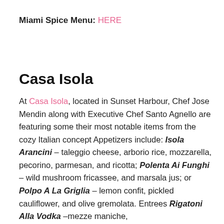Miami Spice Menu: HERE
Casa Isola
At Casa Isola, located in Sunset Harbour, Chef Jose Mendin along with Executive Chef Santo Agnello are featuring some their most notable items from the cozy Italian concept Appetizers include: Isola Arancini – taleggio cheese, arborio rice, mozzarella, pecorino, parmesan, and ricotta; Polenta Ai Funghi – wild mushroom fricassee, and marsala jus; or Polpo A La Griglia – lemon confit, pickled cauliflower, and olive gremolata. Entrees Rigatoni Alla Vodka –mezze maniche,